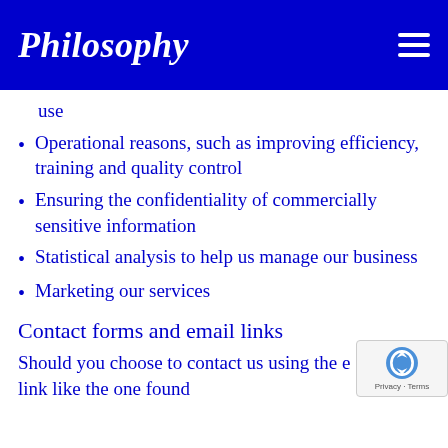Philosophy
use
Operational reasons, such as improving efficiency, training and quality control
Ensuring the confidentiality of commercially sensitive information
Statistical analysis to help us manage our business
Marketing our services
Contact forms and email links
Should you choose to contact us using the email link like the one found
https://...